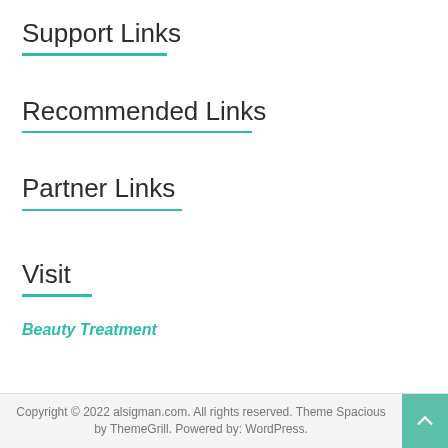Support Links
Recommended Links
Partner Links
Visit
Beauty Treatment
Copyright © 2022 alsigman.com. All rights reserved. Theme Spacious by ThemeGrill. Powered by: WordPress.